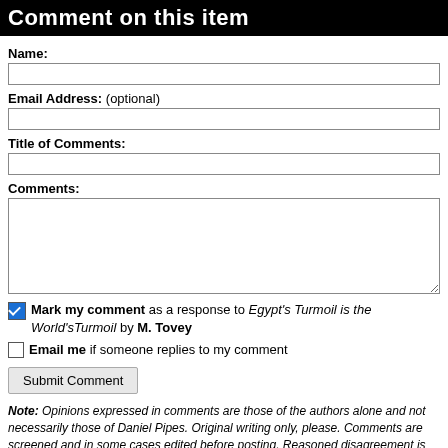Comment on this item
Name:
Email Address: (optional)
Title of Comments:
Comments:
Mark my comment as a response to Egypt's Turmoil is the World's Turmoil by M. Tovey
Email me if someone replies to my comment
Submit Comment
Note: Opinions expressed in comments are those of the authors alone and not necessarily those of Daniel Pipes. Original writing only, please. Comments are screened and in some cases edited before posting. Reasoned disagreement is welcome but not comments that are scurrilous, off-topic, commercial, disparaging religions, or otherwise inappropriate. For complete regulations, see